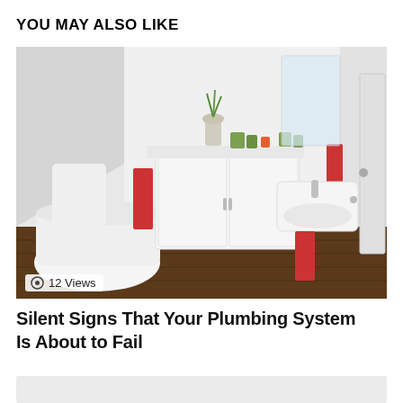YOU MAY ALSO LIKE
[Figure (photo): A bright modern white bathroom with a toilet, white double-door vanity cabinet, wall-mounted sink with chrome faucet, red towels, a green plant, and small decorative candles. Dark wood floor visible. Skylights overhead.]
12 Views
Silent Signs That Your Plumbing System Is About to Fail
[Figure (photo): Partially visible second article card with light grey background at bottom of page]